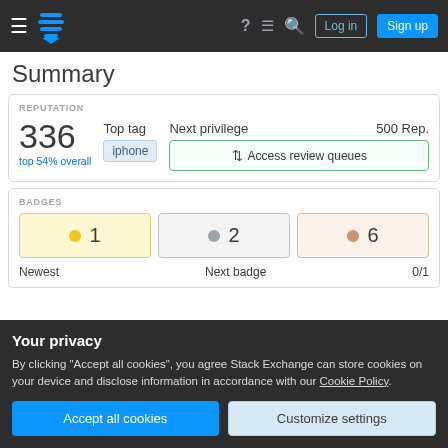Stack Exchange navigation bar with Log in and Sign up buttons
Summary
REPUTATION
336
top 54% overall
Top tag: iphone
Next privilege: Access review queues
500 Rep.
BADGES
1 (gold), 2 (silver), 6 (bronze)
Newest ... Next badge ... 0/1
Your privacy
By clicking "Accept all cookies", you agree Stack Exchange can store cookies on your device and disclose information in accordance with our Cookie Policy.
Accept all cookies | Customize settings